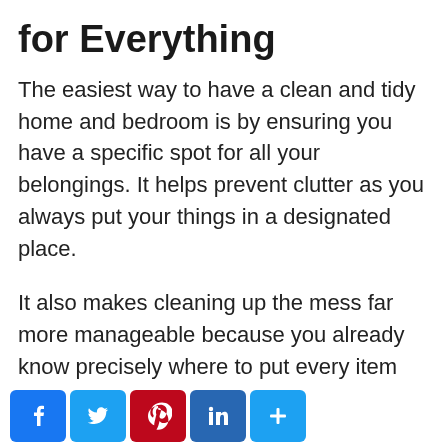for Everything
The easiest way to have a clean and tidy home and bedroom is by ensuring you have a specific spot for all your belongings. It helps prevent clutter as you always put your things in a designated place.
It also makes cleaning up the mess far more manageable because you already know precisely where to put every item that has been misplaced or scattered around. When you do not find enough space for each item to have a specific spot, you need to take it as a sign that you might own too much stuff.
[Figure (other): Social sharing icons for Facebook, Twitter, Pinterest, LinkedIn, and a plus/share button]